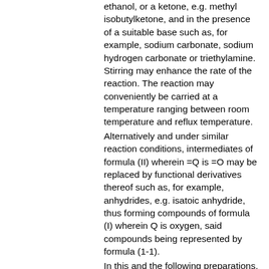ethanol, or a ketone, e.g. methyl isobutylketone, and in the presence of a suitable base such as, for example, sodium carbonate, sodium hydrogen carbonate or triethylamine. Stirring may enhance the rate of the reaction. The reaction may conveniently be carried at a temperature ranging between room temperature and reflux temperature.
Alternatively and under similar reaction conditions, intermediates of formula (II) wherein =Q is =O may be replaced by functional derivatives thereof such as, for example, anhydrides, e.g. isatoic anhydride, thus forming compounds of formula (I) wherein Q is oxygen, said compounds being represented by formula (1-1).
In this and the following preparations, the reaction products may be isolated from the reaction medium and, if necessary, further purified according to methodologies generally known in the art such as, for example, extraction, crystallization, trituration and chromatography.
The compounds of formula (I) wherein L is a radical of formula (A), said compounds being referred to as (I-A), can be prepared by reductively TV-alkylating an intermediate of formula (V) with an intermediate of